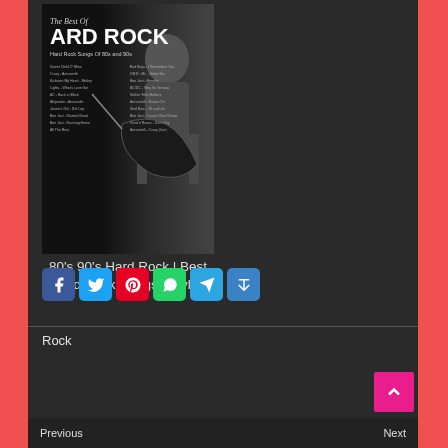[Figure (photo): Album cover for 'The Best Of Hard Rock - Hard Rock Songs Of 80s and 90s' showing a guitarist performing on stage against dark background]
80's 90's Hard Rock | Best Hard Rock Songs Playlist
[Figure (infographic): Social sharing buttons: Facebook (blue), Twitter (light blue), Pinterest (red), WhatsApp (green), Telegram (blue), Share (blue)]
Rock
Previous
Next